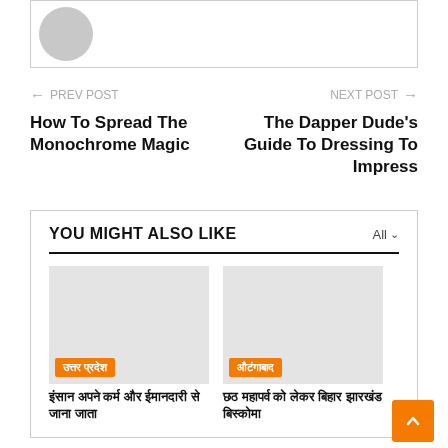[Figure (photo): Gray circular avatar/profile image placeholder inside a bordered box]
← PREV POST
NEXT POST →
How To Spread The Monochrome Magic
The Dapper Dude's Guide To Dressing To Impress
YOU MIGHT ALSO LIKE
[Figure (photo): Gray placeholder image with orange badge: उत्तर प्रदेश]
इंसान अपने कर्म और ईमानदारी से जाना जाता है...
[Figure (photo): Gray placeholder image with orange badge: औटंगाबाद]
छठ महापर्व को लेकर बिहार झारखंड बिस्कोमा...